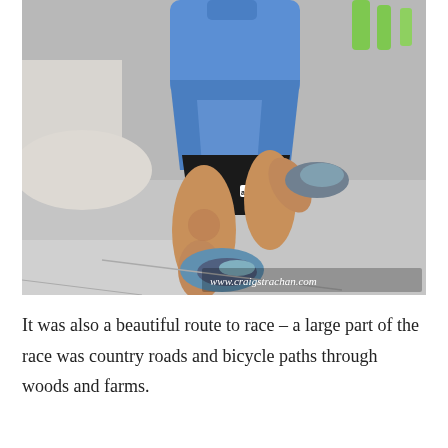[Figure (photo): A runner in a blue shirt and shorts with black compression shorts and Adidas logo, running on a road. The runner is photographed from the waist down, showing muscular legs mid-stride wearing blue running shoes. Background shows a gray road and blurred green figures. Watermark: www.craigstrachan.com]
It was also a beautiful route to race – a large part of the race was country roads and bicycle paths through woods and farms.